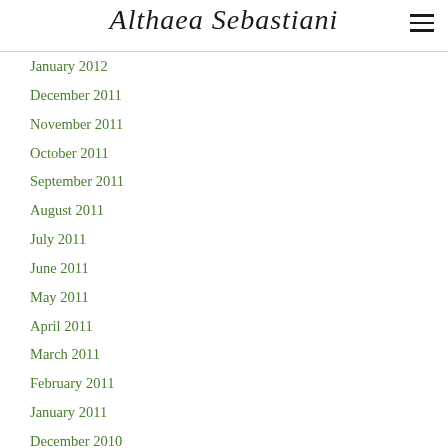Althaea Sebastiani
January 2012
December 2011
November 2011
October 2011
September 2011
August 2011
July 2011
June 2011
May 2011
April 2011
March 2011
February 2011
January 2011
December 2010
November 2010
October 2010
September 2010